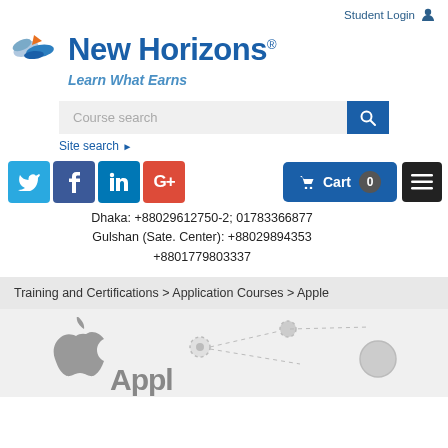Student Login
[Figure (logo): New Horizons logo with bird/wing icon, text 'New Horizons' and tagline 'Learn What Earns']
Course search
Site search ▶
[Figure (infographic): Social media icons: Twitter, Facebook, LinkedIn, Google+]
Cart 0
Dhaka: +88029612750-2; 01783366877
Gulshan (Sate. Center): +88029894353
+8801779803337
Training and Certifications > Application Courses > Apple
[Figure (illustration): Apple logo and partial course map diagram on light grey background]